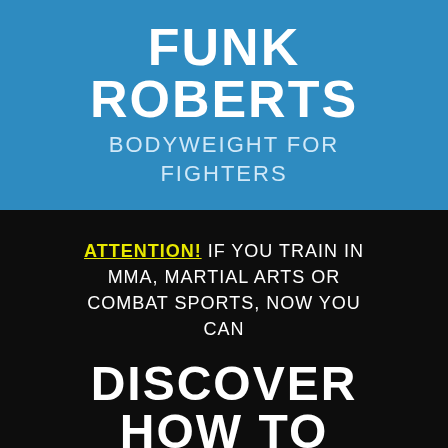FUNK ROBERTS BODYWEIGHT FOR FIGHTERS
ATTENTION! IF YOU TRAIN IN MMA, MARTIAL ARTS OR COMBAT SPORTS, NOW YOU CAN
DISCOVER HOW TO